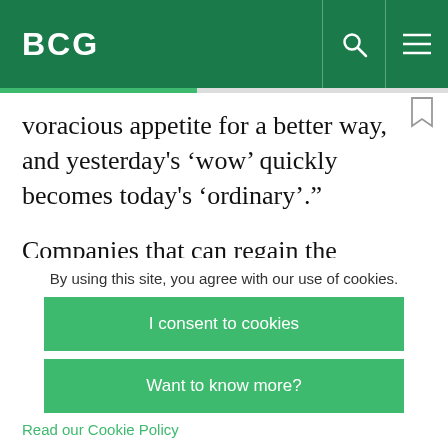BCG
voracious appetite for a better way, and yesterday’s ‘wow’ quickly becomes today’s ‘ordinary’.”
Companies that can regain the enthusiasm, excitement, and energy that they possessed on their first day can expect to prosper. Those that dare
By using this site, you agree with our use of cookies.
I consent to cookies
Want to know more?
Read our Cookie Policy